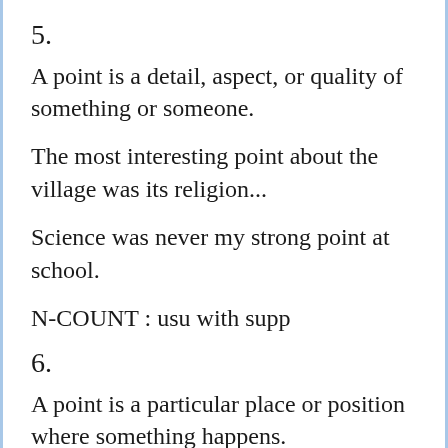5.
A point is a detail, aspect, or quality of something or someone.
The most interesting point about the village was its religion...
Science was never my strong point at school.
N-COUNT : usu with supp
6.
A point is a particular place or position where something happens.